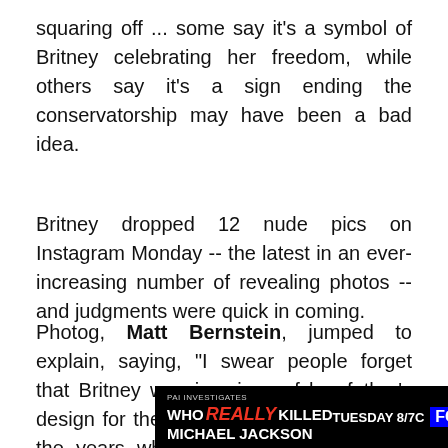squaring off ... some say it's a symbol of Britney celebrating her freedom, while others say it's a sign ending the conservatorship may have been a bad idea.
Britney dropped 12 nude pics on Instagram Monday -- the latest in an ever-increasing number of revealing photos -- and judgments were quick in coming.
Photog, Matt Bernstein, jumped to explain, saying, "I swear people forget that Britney was in prison of her father's design for the past 13 years. She missed the years when we were all terrible at Instagram and used t[...] rself. Let he[...]
[Figure (screenshot): Advertisement banner: WHO REALLY KILLED MICHAEL JACKSON, TUESDAY 8/7c FOX, with dark background and portrait silhouette]